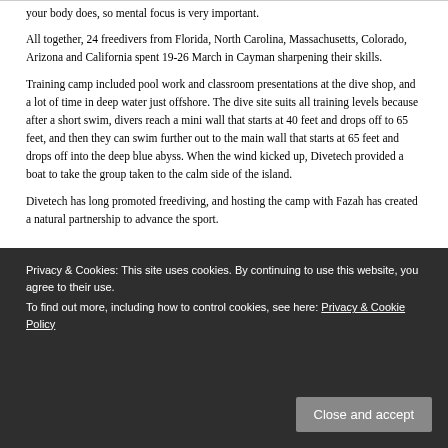your body does, so mental focus is very important.
All together, 24 freedivers from Florida, North Carolina, Massachusetts, Colorado, Arizona and California spent 19-26 March in Cayman sharpening their skills.
Training camp included pool work and classroom presentations at the dive shop, and a lot of time in deep water just offshore. The dive site suits all training levels because after a short swim, divers reach a mini wall that starts at 40 feet and drops off to 65 feet, and then they can swim further out to the main wall that starts at 65 feet and drops off into the deep blue abyss. When the wind kicked up, Divetech provided a boat to take the group taken to the calm side of the island.
Divetech has long promoted freediving, and hosting the camp with Fazah has created a natural partnership to advance the sport.
“Divetech is awesome,” said Fazah. “Most of their dive instructors are very good freedivers and they are all active. Freedivers are part of a good community of like-minded people who, regardless of their skill level, get along and help each other out. Everyone has very similar views on ocean conservation.”
Fazah said most attendees were recreational freedivers but there were also a number of dive professionals. All are working on
Privacy & Cookies: This site uses cookies. By continuing to use this website, you agree to their use.
To find out more, including how to control cookies, see here: Privacy & Cookie Policy